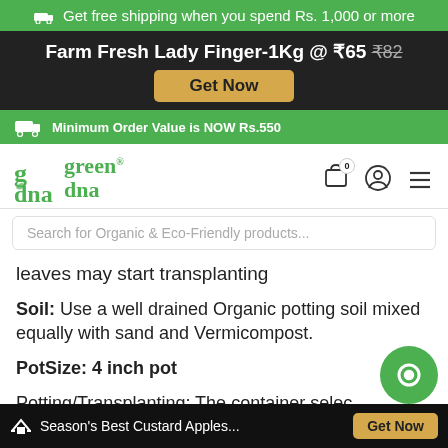🚚 Get free shipping when you spend Rs. 1,000 or more
Farm Fresh Lady Finger-1Kg @ ₹65 ₹82 — Get Now
Minimum Order Value is NOW Rs.550
green dna — navigation bar
Search for Organic & Eco-Friendly products...
leaves may start transplanting
Soil: Use a well drained Organic potting soil mixed equally with sand and Vermicompost.
PotSize: 4 inch pot
Potting/Transplanting: The container selec
📢 Season's Best Custard Apples... Get Now